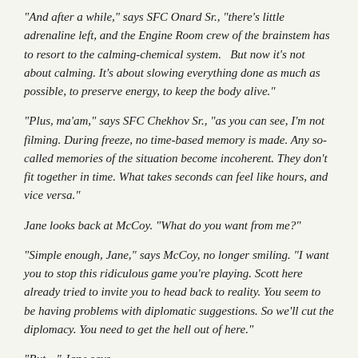“And after a while,” says SFC Onard Sr., “there’s little adrenaline left, and the Engine Room crew of the brainstem has to resort to the calming-chemical system.   But now it’s not about calming. It’s about slowing everything done as much as possible, to preserve energy, to keep the body alive.”
“Plus, ma’am,” says SFC Chekhov Sr., “as you can see, I’m not filming. During freeze, no time-based memory is made. Any so-called memories of the situation become incoherent. They don’t fit together in time. What takes seconds can feel like hours, and vice versa.”
Jane looks back at McCoy. “What do you want from me?”
“Simple enough, Jane,” says McCoy, no longer smiling. “I want you to stop this ridiculous game you’re playing. Scott here already tried to invite you to head back to reality. You seem to be having problems with diplomatic suggestions. So we’ll cut the diplomacy. You need to get the hell out of here.”
“But…” Jane says.
“No ‘buts,’ Janie-Jane,” McCoy says. “Up to this point you’ve kept